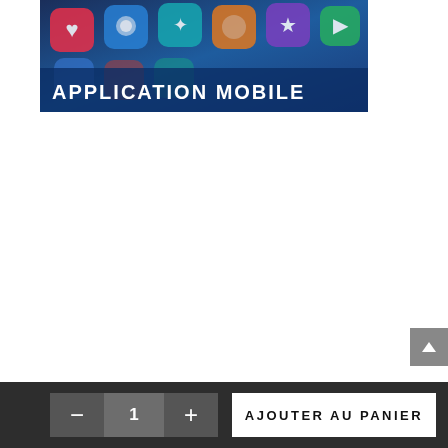[Figure (photo): Mobile application banner image with smartphone app icons on a dark blue background, with 'APPLICATION MOBILE' text overlay]
AJOUTER AU PANIER